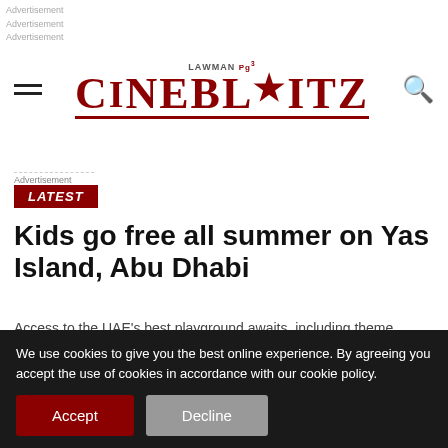Advertisement
Advertisement
Advertisement
[Figure (logo): CineBlitz logo with LAMAN Pg3 subtitle, red serif text with star icon, underlined]
Advertisement
LATEST
Kids go free all summer on Yas Island, Abu Dhabi
Access to the UAE’s best playground awaits, including theme parks, hotels, restaurants and more
Published 3 months agoon June 7, 2022
By Team CineBlitz
We use cookies to give you the best online experience. By agreeing you accept the use of cookies in accordance with our cookie policy.
Accept  Decline